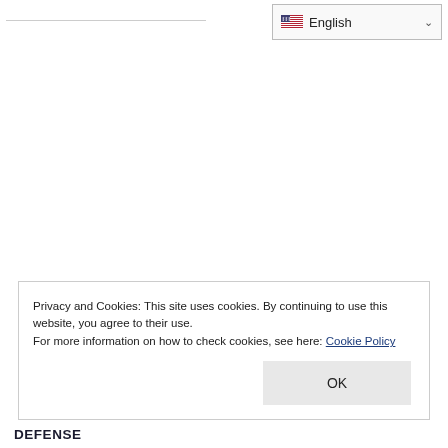[Figure (screenshot): Language selector dropdown showing English with US flag and chevron]
Privacy and Cookies: This site uses cookies. By continuing to use this website, you agree to their use.
For more information on how to check cookies, see here: Cookie Policy
OK
DEFENSE